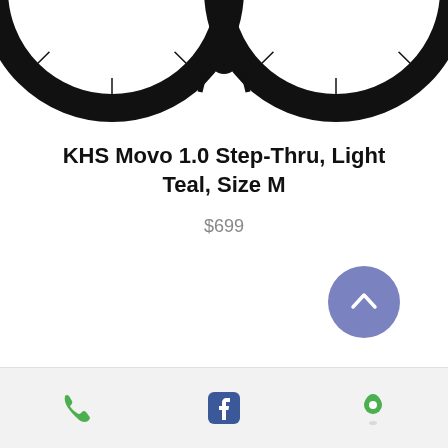[Figure (photo): Top portion of a black bicycle (wheels visible) on white background]
KHS Movo 1.0 Step-Thru, Light Teal, Size M
$699
[Figure (other): Scroll-to-top button: circular blue-purple button with upward chevron arrow]
Phone icon, Facebook icon, Location pin icon